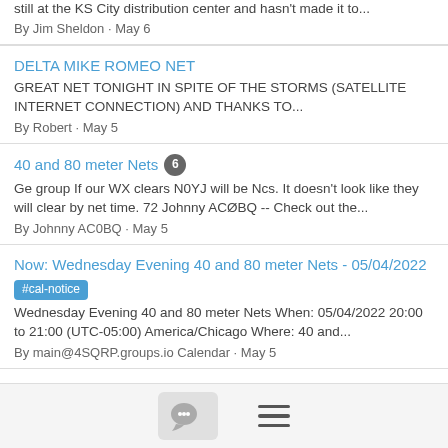still at the KS City distribution center and hasn't made it to...
By Jim Sheldon · May 6
DELTA MIKE ROMEO NET
GREAT NET TONIGHT IN SPITE OF THE STORMS (SATELLITE INTERNET CONNECTION) AND THANKS TO...
By Robert · May 5
40 and 80 meter Nets [6]
Ge group If our WX clears N0YJ will be Ncs. It doesn't look like they will clear by net time. 72 Johnny ACØBQ -- Check out the...
By Johnny AC0BQ · May 5
Now: Wednesday Evening 40 and 80 meter Nets - 05/04/2022 #cal-notice
Wednesday Evening 40 and 80 meter Nets When: 05/04/2022 20:00 to 21:00 (UTC-05:00) America/Chicago Where: 40 and...
By main@4SQRP.groups.io Calendar · May 5
Event: Wednesday Evening 40 and 80 meter Nets